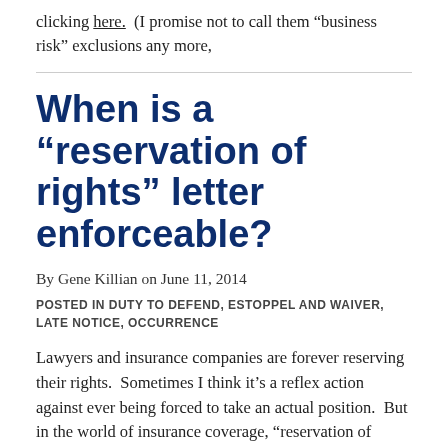clicking here. (I promise not to call them “business risk” exclusions any more,
When is a “reservation of rights” letter enforceable?
By Gene Killian on June 11, 2014
POSTED IN DUTY TO DEFEND, ESTOPPEL AND WAIVER, LATE NOTICE, OCCURRENCE
Lawyers and insurance companies are forever reserving their rights. Sometimes I think it’s a reflex action against ever being forced to take an actual position. But in the world of insurance coverage, “reservation of rights” letters do serve a function.